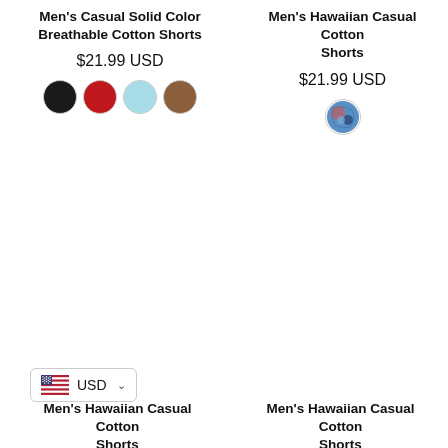Men's Casual Solid Color Breathable Cotton Shorts
$21.99 USD
[Figure (other): Four circular color swatches: black, red, light blue, brown]
Men's Hawaiian Casual Cotton Shorts
$21.99 USD
[Figure (other): One circular color swatch showing Hawaiian print fabric in blue tones]
[Figure (other): Currency selector button showing US flag and USD with dropdown chevron]
Men's Hawaiian Casual Cotton Shorts
Men's Hawaiian Casual Cotton Shorts